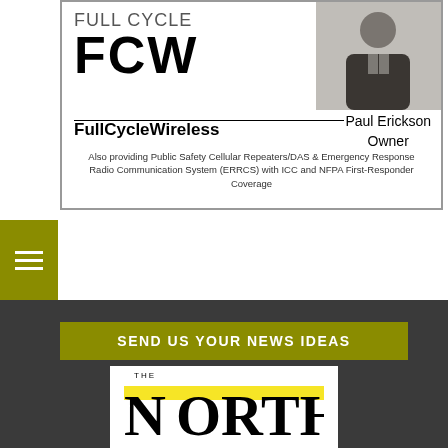[Figure (illustration): FCW FullCycleWireless advertisement with person photo. Shows large FCW logo, FullCycleWireless brand name, Paul Erickson Owner, and description of public safety cellular repeaters/DAS services.]
Also providing Public Safety Cellular Repeaters/DAS & Emergency Response Radio Communication System (ERRCS) with ICC and NFPA First-Responder Coverage
[Figure (other): Olive/yellow colored horizontal banner strip]
[Figure (other): Dark gray footer section with Send Us Your News Ideas banner and The Northeast logo]
SEND US YOUR NEWS IDEAS
[Figure (logo): The Northeast newspaper logo with large serif N, yellow highlight strip, and partial text]